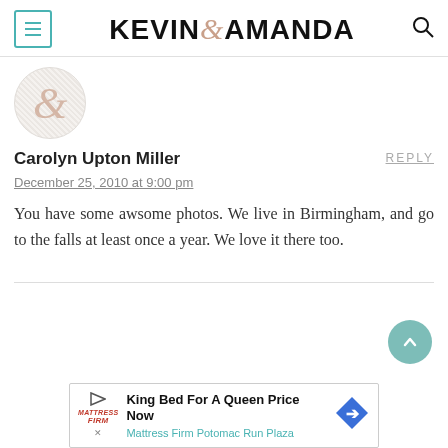KEVIN & AMANDA
[Figure (illustration): Avatar circle with ampersand symbol on diagonal striped background]
Carolyn Upton Miller
REPLY
December 25, 2010 at 9:00 pm
You have some awsome photos. We live in Birmingham, and go to the falls at least once a year. We love it there too.
[Figure (infographic): Advertisement: King Bed For A Queen Price Now - Mattress Firm Potomac Run Plaza]